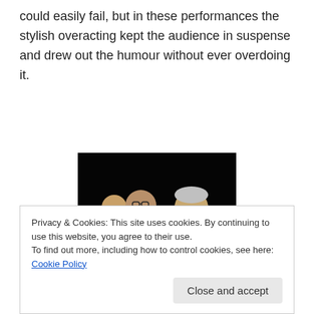could easily fail, but in these performances the stylish overacting kept the audience in suspense and drew out the humour without ever overdoing it.
[Figure (photo): Two men sitting in a theatre with red seats. One man on the left wears glasses and a dark suit with a tie; the man on the right wears a light-coloured suit with a pink shirt and tie. A third person in a blue shirt is partially visible in the background.]
Privacy & Cookies: This site uses cookies. By continuing to use this website, you agree to their use.
To find out more, including how to control cookies, see here: Cookie Policy